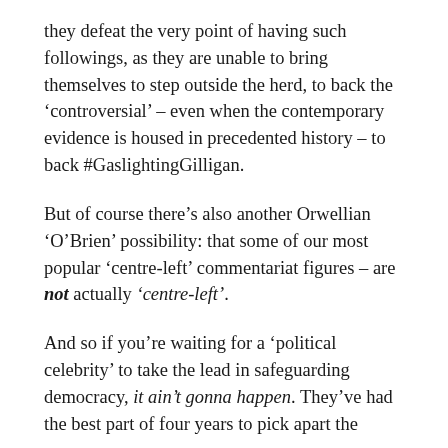they defeat the very point of having such followings, as they are unable to bring themselves to step outside the herd, to back the 'controversial' – even when the contemporary evidence is housed in precedented history – to back #GaslightingGilligan.
But of course there's also another Orwellian 'O'Brien' possibility: that some of our most popular 'centre-left' commentariat figures – are not actually 'centre-left'.
And so if you're waiting for a 'political celebrity' to take the lead in safeguarding democracy, it ain't gonna happen. They've had the best part of four years to pick apart the